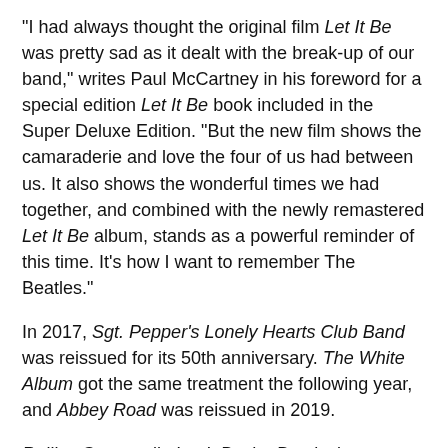"I had always thought the original film Let It Be was pretty sad as it dealt with the break-up of our band," writes Paul McCartney in his foreword for a special edition Let It Be book included in the Super Deluxe Edition. "But the new film shows the camaraderie and love the four of us had between us. It also shows the wonderful times we had together, and combined with the newly remastered Let It Be album, stands as a powerful reminder of this time. It's how I want to remember The Beatles."
In 2017, Sgt. Pepper's Lonely Hearts Club Band was reissued for its 50th anniversary. The White Album got the same treatment the following year, and Abbey Road was reissued in 2019.
Rolling Stone calls Let It Be the Beatles' misunderstood masterpiece. The album with the band's most daunting reputation. We're all used to hearing it as their break-up album. The messy film soundtrack that arrived in May 1970, just as the band was breaking up.
But with Phil Spector taking the helm, the story of Let It Be had diamonds among shining amid its darker moments. This is the